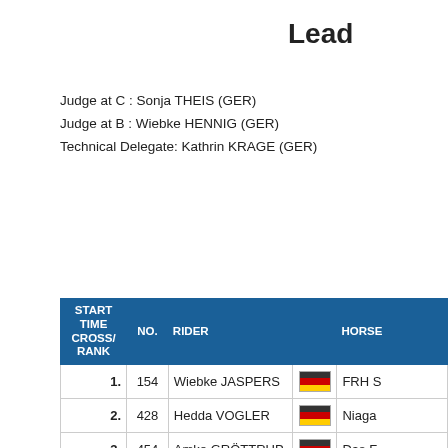Lead
Judge at C : Sonja THEIS (GER)
Judge at B : Wiebke HENNIG (GER)
Technical Delegate: Kathrin KRAGE (GER)
| START TIME CROSS/ RANK | NO. | RIDER |  | HORSE |
| --- | --- | --- | --- | --- |
| 1. | 154 | Wiebke JASPERS | GER | FRH S... |
| 2. | 428 | Hedda VOGLER | GER | Niaga... |
| 3. | 454 | Amke GRÖTTRUP | GER | Das F... |
| 4. | 236 | Julia MESTERN | GER | Olimo... |
| 5. | 200 | Antonia REISS | GER | La Va... |